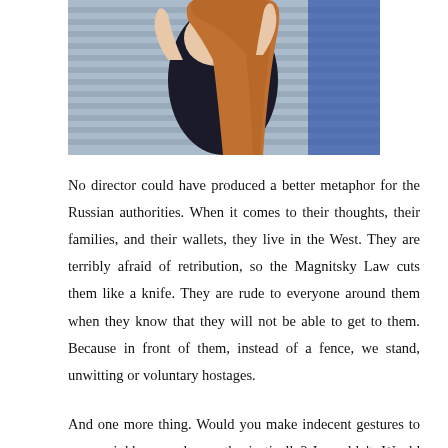[Figure (photo): Photo of a woman with long red/auburn hair, wearing a dark navy top, photographed against a light blue background. Her hands are raised near her head.]
No director could have produced a better metaphor for the Russian authorities. When it comes to their thoughts, their families, and their wallets, they live in the West. They are terribly afraid of retribution, so the Magnitsky Law cuts them like a knife. They are rude to everyone around them when they know that they will not be able to get to them. Because in front of them, instead of a fence, we stand, unwitting or voluntary hostages.
And one more thing. Would you make indecent gestures to your neighbors, and so enthusiastically? I wouldn't. Would you steal bicycles in a city? Deal drugs? What other exploits